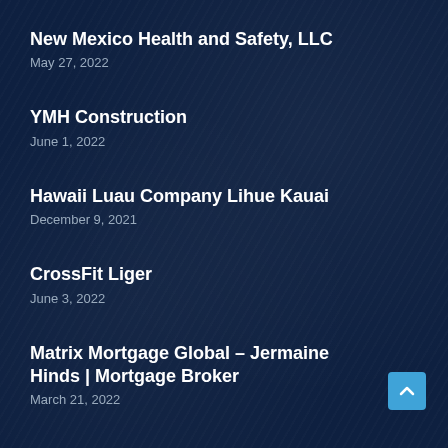New Mexico Health and Safety, LLC
May 27, 2022
YMH Construction
June 1, 2022
Hawaii Luau Company Lihue Kauai
December 9, 2021
CrossFit Liger
June 3, 2022
Matrix Mortgage Global – Jermaine Hinds | Mortgage Broker
March 21, 2022